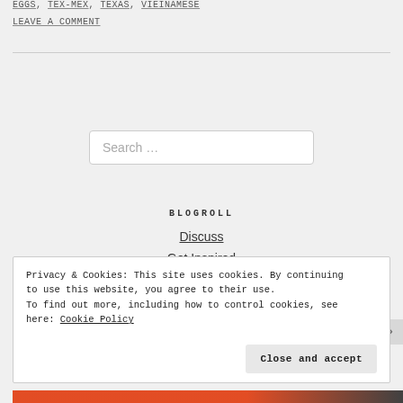EGGS, TEX-MEX, TEXAS, VIEINAMESE
LEAVE A COMMENT
Search …
BLOGROLL
Discuss
Get Inspired
Privacy & Cookies: This site uses cookies. By continuing to use this website, you agree to their use. To find out more, including how to control cookies, see here: Cookie Policy
Close and accept